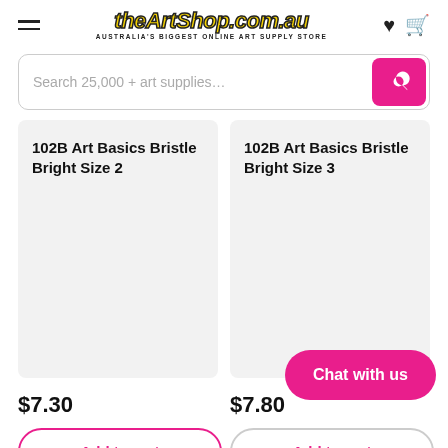theArtShop.com.au — AUSTRALIA'S BIGGEST ONLINE ART SUPPLY STORE
Search 25,000 + art supplies…
102B Art Basics Bristle Bright Size 2
102B Art Basics Bristle Bright Size 3
$7.30
$7.80
Add to cart
Add to cart
Chat with us